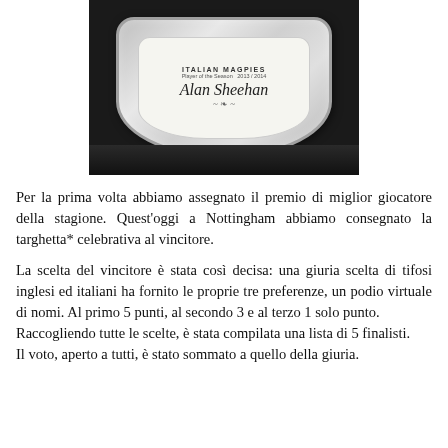[Figure (photo): A silver award plaque/trophy with engraved text reading 'ITALIAN MAGPIES, Player of the Season 2013/2014, Alan Sheehan' with decorative script and ornamental design, photographed against a dark background.]
Per la prima volta abbiamo assegnato il premio di miglior giocatore della stagione. Quest'oggi a Nottingham abbiamo consegnato la targhetta* celebrativa al vincitore.
La scelta del vincitore è stata così decisa: una giuria scelta di tifosi inglesi ed italiani ha fornito le proprie tre preferenze, un podio virtuale di nomi. Al primo 5 punti, al secondo 3 e al terzo 1 solo punto. Raccogliendo tutte le scelte, è stata compilata una lista di 5 finalisti. Il voto, aperto a tutti, è stato sommato a quello della giuria.